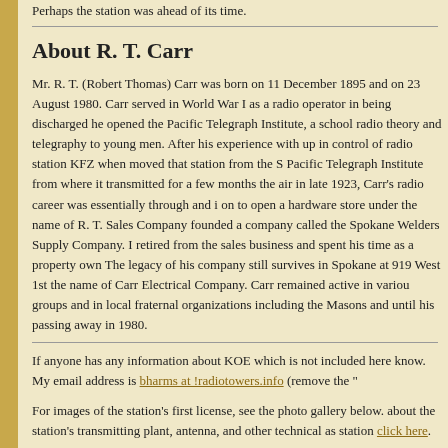Perhaps the station was ahead of its time.
About R. T. Carr
Mr. R. T. (Robert Thomas) Carr was born on 11 December 1895 and on 23 August 1980. Carr served in World War I as a radio operator in being discharged he opened the Pacific Telegraph Institute, a school radio theory and telegraphy to young men. After his experience with up in control of radio station KFZ when moved that station from the S Pacific Telegraph Institute from where it transmitted for a few months the air in late 1923, Carr's radio career was essentially through and i on to open a hardware store under the name of R. T. Sales Company founded a company called the Spokane Welders Supply Company. I retired from the sales business and spent his time as a property own The legacy of his company still survives in Spokane at 919 West 1st the name of Carr Electrical Company. Carr remained active in variou groups and in local fraternal organizations including the Masons and until his passing away in 1980.
If anyone has any information about KOE which is not included here know. My email address is bharms at !radiotowers.info (remove the "!" station click here.
For images of the station's first license, see the photo gallery below. about the station's transmitting plant, antenna, and other technical aspects station click here.
Compiled and Edited by Bill Harms - updated on 18 July 2009